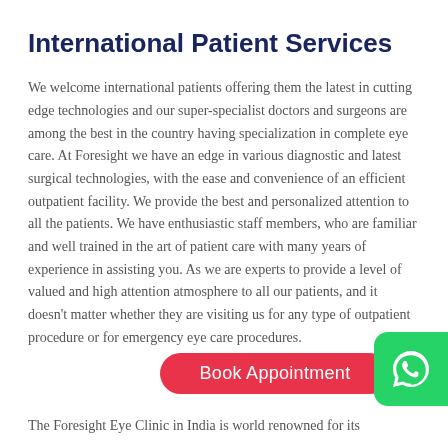International Patient Services
We welcome international patients offering them the latest in cutting edge technologies and our super-specialist doctors and surgeons are among the best in the country having specialization in complete eye care. At Foresight we have an edge in various diagnostic and latest surgical technologies, with the ease and convenience of an efficient outpatient facility. We provide the best and personalized attention to all the patients. We have enthusiastic staff members, who are familiar and well trained in the art of patient care with many years of experience in assisting you. As we are experts to provide a level of valued and high attention atmosphere to all our patients, and it doesn't matter whether they are visiting us for any type of outpatient procedure or for emergency eye care procedures.
Book Appointment
The Foresight Eye Clinic in India is world renowned for its